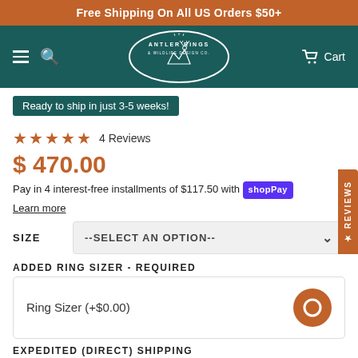Free Shipping On All US Orders $50+
[Figure (logo): Antler Rings & Wildlife Design Co. oval logo with deer silhouette on teal background, with hamburger menu, search icon, and Cart link]
Ready to ship in just 3-5 weeks!
★★★★★  4 Reviews
$ 470.00
Pay in 4 interest-free installments of $117.50 with Shop Pay
Learn more
SIZE  --SELECT AN OPTION--
ADDED RING SIZER - REQUIRED
Ring Sizer (+$0.00)
EXPEDITED (DIRECT) SHIPPING